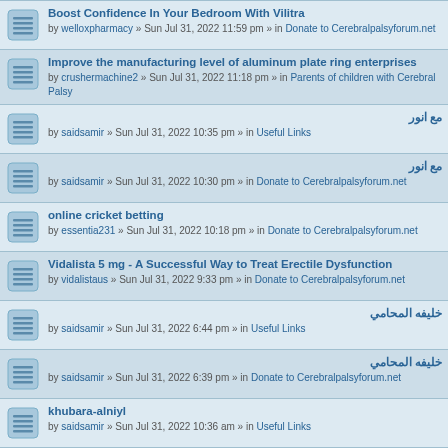Boost Confidence In Your Bedroom With Vilitra
by welloxpharmacy » Sun Jul 31, 2022 11:59 pm » in Donate to Cerebralpalsyforum.net
Improve the manufacturing level of aluminum plate ring enterprises
by crushermachine2 » Sun Jul 31, 2022 11:18 pm » in Parents of children with Cerebral Palsy
مع انور
by saidsamir » Sun Jul 31, 2022 10:35 pm » in Useful Links
مع انور
by saidsamir » Sun Jul 31, 2022 10:30 pm » in Donate to Cerebralpalsyforum.net
online cricket betting
by essentia231 » Sun Jul 31, 2022 10:18 pm » in Donate to Cerebralpalsyforum.net
Vidalista 5 mg - A Successful Way to Treat Erectile Dysfunction
by vidalistaus » Sun Jul 31, 2022 9:33 pm » in Donate to Cerebralpalsyforum.net
خليفه المحامي
by saidsamir » Sun Jul 31, 2022 6:44 pm » in Useful Links
خليفه المحامي
by saidsamir » Sun Jul 31, 2022 6:39 pm » in Donate to Cerebralpalsyforum.net
khubara-alniyl
by saidsamir » Sun Jul 31, 2022 10:36 am » in Useful Links
khubara-alniyl
by saidsamir » Sun Jul 31, 2022 10:34 am » in Donate to